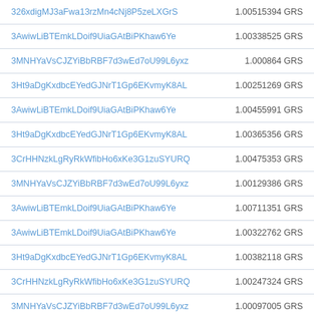| Address | Amount |
| --- | --- |
| 326xdigMJ3aFwa13rzMn4cNj8P5zeLXGrS | 1.00515394 GRS |
| 3AwiwLiBTEmkLDoif9UiaGAtBiPKhaw6Ye | 1.00338525 GRS |
| 3MNHYaVsCJZYiBbRBF7d3wEd7oU99L6yxz | 1.000864 GRS |
| 3Ht9aDgKxdbcEYedGJNrT1Gp6EKvmyK8AL | 1.00251269 GRS |
| 3AwiwLiBTEmkLDoif9UiaGAtBiPKhaw6Ye | 1.00455991 GRS |
| 3Ht9aDgKxdbcEYedGJNrT1Gp6EKvmyK8AL | 1.00365356 GRS |
| 3CrHHNzkLgRyRkWfibHo6xKe3G1zuSYURQ | 1.00475353 GRS |
| 3MNHYaVsCJZYiBbRBF7d3wEd7oU99L6yxz | 1.00129386 GRS |
| 3AwiwLiBTEmkLDoif9UiaGAtBiPKhaw6Ye | 1.00711351 GRS |
| 3AwiwLiBTEmkLDoif9UiaGAtBiPKhaw6Ye | 1.00322762 GRS |
| 3Ht9aDgKxdbcEYedGJNrT1Gp6EKvmyK8AL | 1.00382118 GRS |
| 3CrHHNzkLgRyRkWfibHo6xKe3G1zuSYURQ | 1.00247324 GRS |
| 3MNHYaVsCJZYiBbRBF7d3wEd7oU99L6yxz | 1.00097005 GRS |
| 3AwiwLiBTEmkLDoif9UiaGAtBiPKhaw6Ye | 1.00236177 GRS |
| 3Ht9aDgKxdbcEYedGJNrT1Gp6EKvmyK8AL | 1.00372789 GRS |